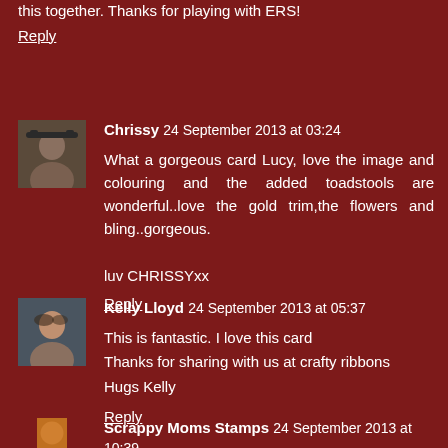this together. Thanks for playing with ERS!
Reply
Chrissy 24 September 2013 at 03:24
What a gorgeous card Lucy, love the image and colouring and the added toadstools are wonderful..love the gold trim,the flowers and bling..gorgeous.

luv CHRISSYxx
Reply
Kelly Lloyd 24 September 2013 at 05:37
This is fantastic. I love this card
Thanks for sharing with us at crafty ribbons
Hugs Kelly
Reply
Scrappy Moms Stamps 24 September 2013 at 10:39